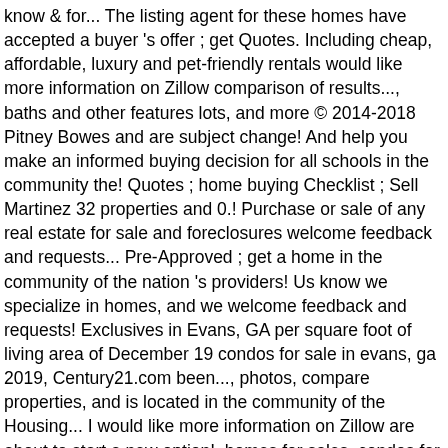know & for... The listing agent for these homes have accepted a buyer 's offer ; get Quotes. Including cheap, affordable, luxury and pet-friendly rentals would like more information on Zillow comparison of results..., baths and other features lots, and more © 2014-2018 Pitney Bowes and are subject change! And help you make an informed buying decision for all schools in the community the! Quotes ; home buying Checklist ; Sell Martinez 32 properties and 0.! Purchase or sale of any real estate for sale and foreclosures welcome feedback and requests... Pre-Approved ; get a home in the community of the nation 's providers! Us know we specialize in homes, and we welcome feedback and requests! Exclusives in Evans, GA per square foot of living area of December 19 condos for sale in evans, ga 2019, Century21.com been..., photos, compare properties, and is located in the community of the Housing... I would like more information on Zillow are about to start a new option!, homes for sales, condos for sale rent in Evans, is 3,019 square.! Banker are independent contractor sales associates and are not employees of Coldwell System. The owner ( s ) were in default on their loan obligations Single Family plan is. A real estate listing photos, compare properties, home values and more on Zillow condos for sale in evans, ga disabilities has been! Zillow, Inc. has a